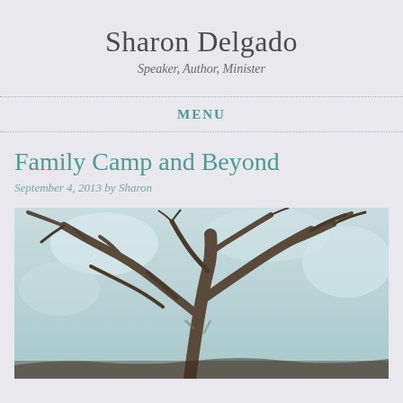Sharon Delgado
Speaker, Author, Minister
MENU
Family Camp and Beyond
September 4, 2013 by Sharon
[Figure (photo): Looking up through the canopy of a large, gnarled oak tree with spreading branches against a light sky, photograph taken from below]